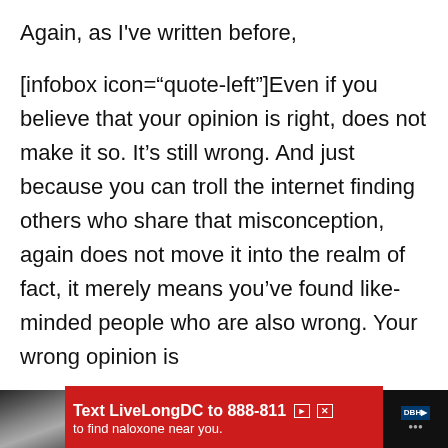Again, as I've written before,
[infobox icon="quote-left"]Even if you believe that your opinion is right, does not make it so. It's still wrong. And just because you can troll the internet finding others who share that misconception, again does not move it into the realm of fact, it merely means you've found like-minded people who are also wrong. Your wrong opinion is
[Figure (screenshot): Mobile advertisement banner at bottom of screen: red background with text 'Text LiveLongDC to 888-811 to find naloxone near you.' with a photo of hands holding naloxone devices on the left and a DBH logo on the right. Below is a dark navigation bar.]